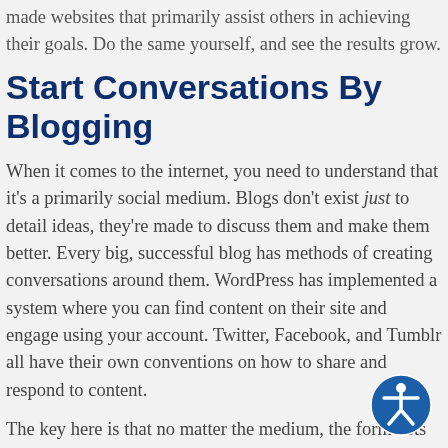made websites that primarily assist others in achieving their goals. Do the same yourself, and see the results grow.
Start Conversations By Blogging
When it comes to the internet, you need to understand that it's a primarily social medium. Blogs don't exist just to detail ideas, they're made to discuss them and make them better. Every big, successful blog has methods of creating conversations around them. WordPress has implemented a system where you can find content on their site and engage using your account. Twitter, Facebook, and Tumblr all have their own conventions on how to share and respond to content.
The key here is that no matter the medium, the form lists